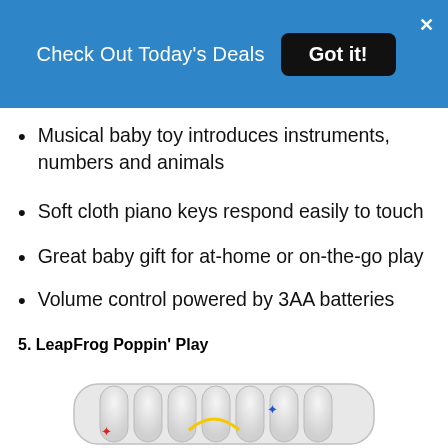Check Out Today's Deals   Got it!   X
Musical baby toy introduces instruments, numbers and animals
Soft cloth piano keys respond easily to touch
Great baby gift for at-home or on-the-go play
Volume control powered by 3AA batteries
5. LeapFrog Poppin' Play
[Figure (photo): Bottom portion of a white LeapFrog Poppin' Play toy with colorful star icons (red, blue, yellow) visible on the surface with piano-key-like ridges]